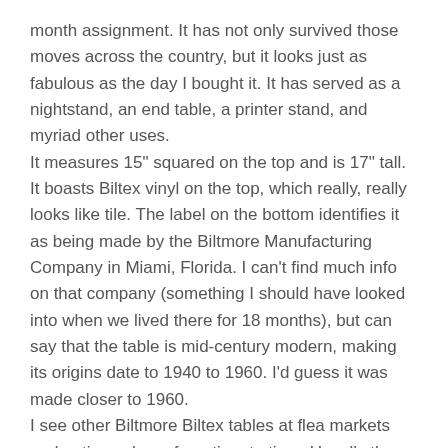month assignment. It has not only survived those moves across the country, but it looks just as fabulous as the day I bought it. It has served as a nightstand, an end table, a printer stand, and myriad other uses.
It measures 15" squared on the top and is 17" tall. It boasts Biltex vinyl on the top, which really, really looks like tile. The label on the bottom identifies it as being made by the Biltmore Manufacturing Company in Miami, Florida. I can't find much info on that company (something I should have looked into when we lived there for 18 months), but can say that the table is mid-century modern, making its origins date to 1940 to 1960. I'd guess it was made closer to 1960.
I see other Biltmore Biltex tables at flea markets and antique shops from time to time. Usually they are two or three nesting tables whose tops are designed with gold flecks and butterflies. They are usually somewhat triangular. I've never seen another like mine.
Don't pass these babies by if you come across them. They're not all that treasured now but I would guess that they'll hold their value if cared for properly. And let's not forget how fabulous and easy to travel with they are.